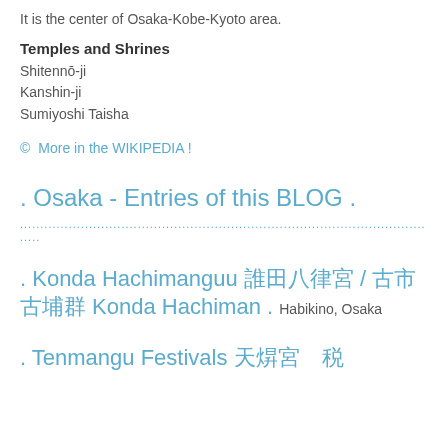It is the center of Osaka-Kobe-Kyoto area.
Temples and Shrines
Shitennō-ji
Kanshin-ji
Sumiyoshi Taisha
© More in the WIKIPEDIA !
. Osaka - Entries of this BLOG .
....................................................................................................
....
. Konda Hachimanguu 誉田八幡宮 / 古市古墳群 Konda Hachiman . Habikino, Osaka
Tenmangu Festivals 天満宮　祭